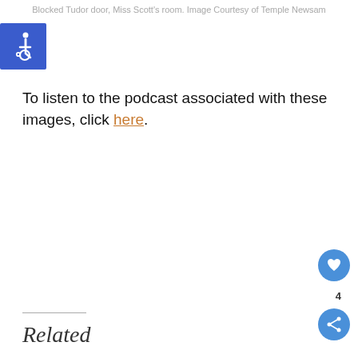Blocked Tudor door, Miss Scott's room. Image Courtesy of Temple Newsam
[Figure (illustration): Blue square accessibility icon with white wheelchair symbol]
To listen to the podcast associated with these images, click here.
[Figure (illustration): Blue circular like/heart button with heart icon]
4
[Figure (illustration): Blue circular share button with share icon]
[Figure (illustration): Related section with cursive 'Related' heading and horizontal line]